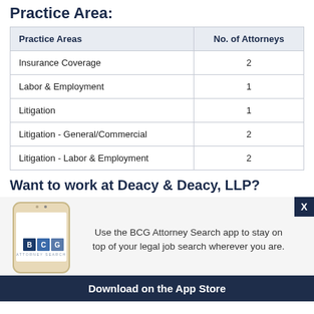Practice Area:
| Practice Areas | No. of Attorneys |
| --- | --- |
| Insurance Coverage | 2 |
| Labor & Employment | 1 |
| Litigation | 1 |
| Litigation - General/Commercial | 2 |
| Litigation - Labor & Employment | 2 |
Want to work at Deacy & Deacy, LLP?
Use the BCG Attorney Search app to stay on top of your legal job search wherever you are.
Download on the App Store